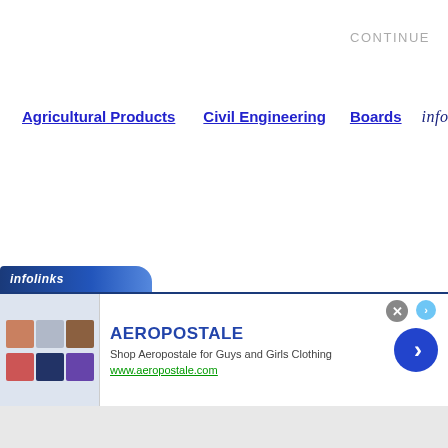CONTINUE
Agricultural Products
Civil Engineering
Boards
[Figure (logo): infolinks logo/brand name in dark navy italic text]
[Figure (screenshot): Infolinks ad banner at bottom of page showing Aeropostale advertisement with clothing thumbnail images, brand name AEROPOSTALE, tagline 'Shop Aeropostale for Guys and Girls Clothing', URL www.aeropostale.com, close button, and next arrow button]